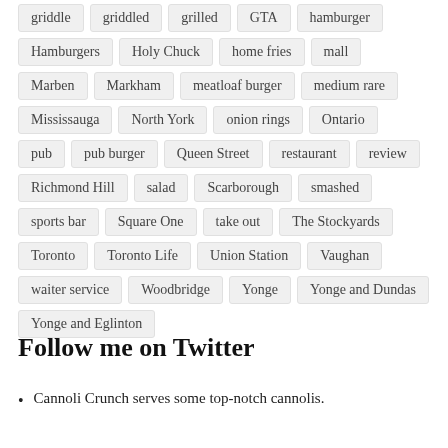griddle | griddled | grilled | GTA | hamburger | Hamburgers | Holy Chuck | home fries | mall | Marben | Markham | meatloaf burger | medium rare | Mississauga | North York | onion rings | Ontario | pub | pub burger | Queen Street | restaurant | review | Richmond Hill | salad | Scarborough | smashed | sports bar | Square One | take out | The Stockyards | Toronto | Toronto Life | Union Station | Vaughan | waiter service | Woodbridge | Yonge | Yonge and Dundas | Yonge and Eglinton
Follow me on Twitter
Cannoli Crunch serves some top-notch cannolis.